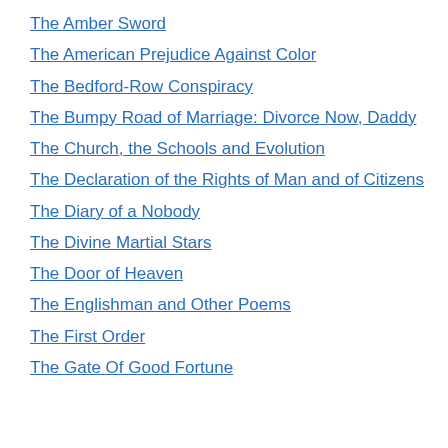The Amber Sword
The American Prejudice Against Color
The Bedford-Row Conspiracy
The Bumpy Road of Marriage: Divorce Now, Daddy
The Church, the Schools and Evolution
The Declaration of the Rights of Man and of Citizens
The Diary of a Nobody
The Divine Martial Stars
The Door of Heaven
The Englishman and Other Poems
The First Order
The Gate Of Good Fortune